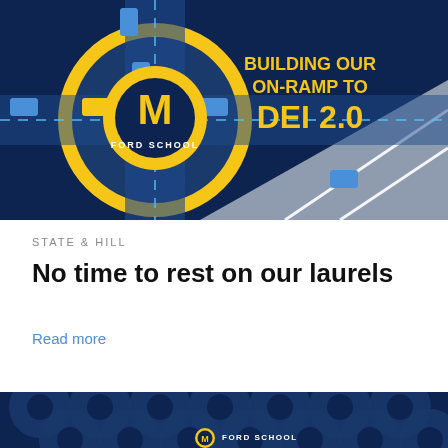[Figure (illustration): Ford School University of Michigan branded graphic showing an aerial view of a road interchange with cars, featuring a circular Michigan M logo and Ford School branding. Text reads 'BUILDING OUR ON-RAMP TO DEI 2.0' in yellow on a navy blue background.]
STATE & HILL
No time to rest on our laurels
Read more
[Figure (illustration): Ford School University of Michigan branded graphic with dark navy background featuring repeated circular M Ford School logos in a pattern, with Ford School text logo visible at the bottom.]